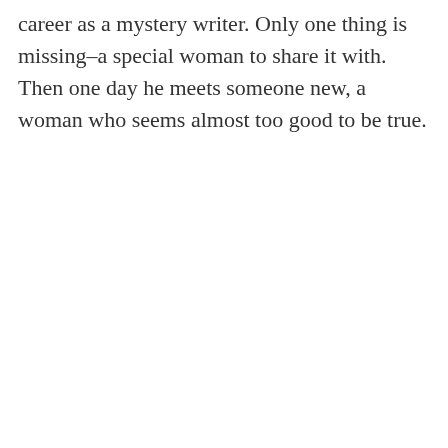career as a mystery writer. Only one thing is missing–a special woman to share it with. Then one day he meets someone new, a woman who seems almost too good to be true.